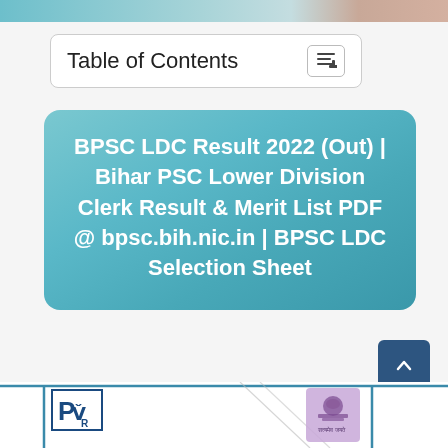[Figure (other): Top decorative image bar with teal and brown tones]
Table of Contents
BPSC LDC Result 2022 (Out) | Bihar PSC Lower Division Clerk Result & Merit List PDF @ bpsc.bih.nic.in | BPSC LDC Selection Sheet
[Figure (other): Bottom document preview with PVR logo, diagonal paper, and Bihar government emblem]